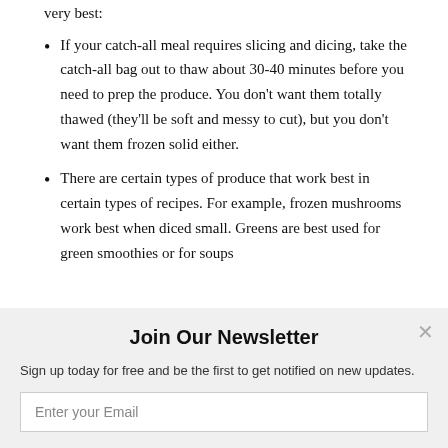If your catch-all meal requires slicing and dicing, take the catch-all bag out to thaw about 30-40 minutes before you need to prep the produce. You don't want them totally thawed (they'll be soft and messy to cut), but you don't want them frozen solid either.
There are certain types of produce that work best in certain types of recipes. For example, frozen mushrooms work best when diced small. Greens are best used for green smoothies or for soups
Join Our Newsletter
Sign up today for free and be the first to get notified on new updates.
Enter your Email